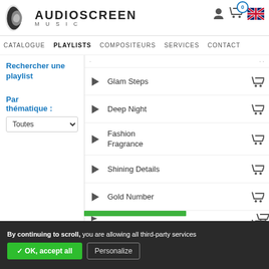[Figure (logo): AudioScreen Music logo with stylized sound wave icon and text]
CATALOGUE  PLAYLISTS  COMPOSITEURS  SERVICES  CONTACT
Rechercher une playlist
Par thématique :
Glam Steps
Deep Night
Fashion Fragrance
Shining Details
Gold Number
Insta Night
Dam
By continuing to scroll, you are allowing all third-party services
✓ OK, accept all   Personalize